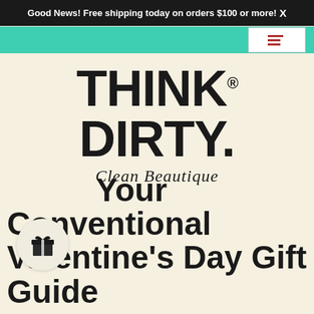Good News! Free shipping today on orders $100 or more! X
[Figure (logo): Think Dirty Clean Beautique logo — bold black sans-serif THINK DIRTY. with cursive Clean Beautique tagline below]
Ditch Your Conventional Valentine's Day Gift Guide